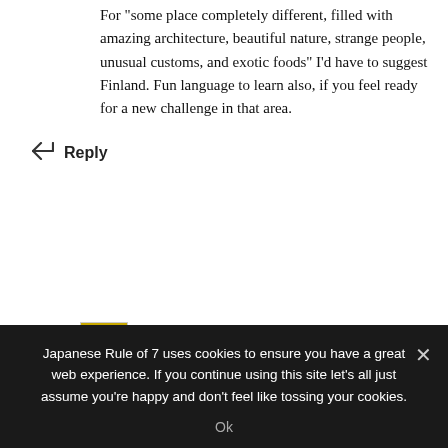For "some place completely different, filled with amazing architecture, beautiful nature, strange people, unusual customs, and exotic foods" I'd have to suggest Finland. Fun language to learn also, if you feel ready for a new challenge in that area.
↩ Reply
Ken Seerol
MAY 11, 2019 AT 9:14 PM
Honestly, I have a really good impression of
Japanese Rule of 7 uses cookies to ensure you have a great web experience. If you continue using this site let's all just assume you're happy and don't feel like tossing your cookies.
Ok